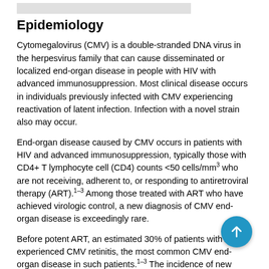Epidemiology
Cytomegalovirus (CMV) is a double-stranded DNA virus in the herpesvirus family that can cause disseminated or localized end-organ disease in people with HIV with advanced immunosuppression. Most clinical disease occurs in individuals previously infected with CMV experiencing reactivation of latent infection. Infection with a novel strain also may occur.
End-organ disease caused by CMV occurs in patients with HIV and advanced immunosuppression, typically those with CD4+ T lymphocyte cell (CD4) counts <50 cells/mm3 who are not receiving, adherent to, or responding to antiretroviral therapy (ART).1–3 Among those treated with ART who have achieved virologic control, a new diagnosis of CMV end-organ disease is exceedingly rare.
Before potent ART, an estimated 30% of patients with AIDS experienced CMV retinitis, the most common CMV end-organ disease in such patients.1–3 The incidence of new cases of CMV end-organ disease has declined by ≥95% with the advent of potent ART. In those with established CMV retinitis, recurrence of active lesions occurs at a rate substantially lower than that seen in the era before